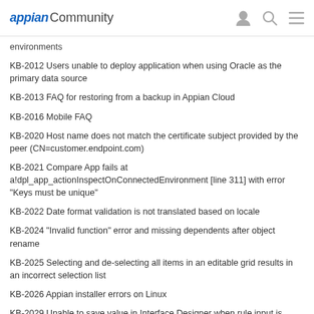appian Community
environments
KB-2012 Users unable to deploy application when using Oracle as the primary data source
KB-2013 FAQ for restoring from a backup in Appian Cloud
KB-2016 Mobile FAQ
KB-2020 Host name does not match the certificate subject provided by the peer (CN=customer.endpoint.com)
KB-2021 Compare App fails at a!dpl_app_actionInspectOnConnectedEnvironment [line 311] with error "Keys must be unique"
KB-2022 Date format validation is not translated based on locale
KB-2024 "Invalid function" error and missing dependents after object rename
KB-2025 Selecting and de-selecting all items in an editable grid results in an incorrect selection list
KB-2026 Appian installer errors on Linux
KB-2029 Unable to save value in Interface Designer when rule input is named "action"
KB-2031 New plugins are installed on a site after upgrading to Appian 19.3
KB-2032 Tomcat fails to start with "Connection has been